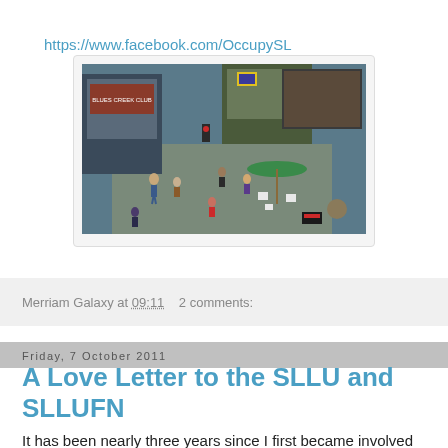https://www.facebook.com/OccupySL
[Figure (screenshot): Virtual world scene showing avatar characters in an urban plaza with buildings, signs, an umbrella with chairs, and various storefronts in what appears to be Second Life]
Merriam Galaxy at 09:11   2 comments:
Friday, 7 October 2011
A Love Letter to the SLLU and SLLUFN
It has been nearly three years since I first became involved with the SLLU and, soon after, the SLLUFN. At the time, I